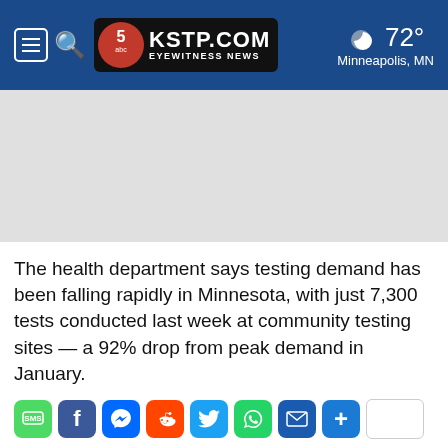KSTP.COM EYEWITNESS NEWS | 72° Minneapolis, MN
[Figure (screenshot): Gray advertisement placeholder area]
The health department says testing demand has been falling rapidly in Minnesota, with just 7,300 tests conducted last week at community testing sites — a 92% drop from peak demand in January.
[Figure (infographic): Social share buttons row: SMS, Facebook, Messenger, Reddit, Twitter, WhatsApp, Email, Plus, share count box]
For Related Stories: COVID-19  COVID-19 Testing  Minnesota
Minnesota Department of Health
RECOMMENDED FOR YOU